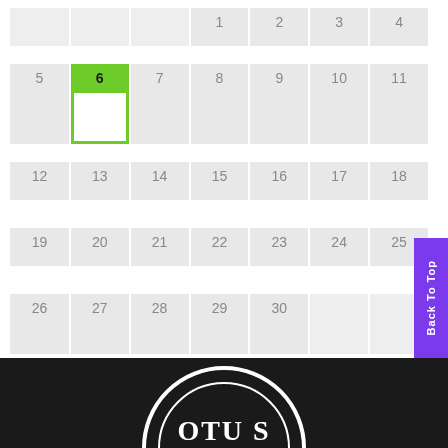[Figure (other): Monthly calendar grid showing dates 1-30 with date 6 highlighted in green as the selected/today cell. Dates 1-4 appear in the first visible row (with empty cells for Sun-Tue). Row 2: 5,6(highlighted),7,8,9,10,11. Row 3: 12,13,14,15,16,17,18. Row 4: 19,20,21,22,23,24,25. Row 5: 26,27,28,29,30 with gray empty cells for remaining days. White gap rows separate each week row.]
[Figure (logo): Partial circular logo on black footer bar showing text 'OTU S' in white serif font within a circular badge design.]